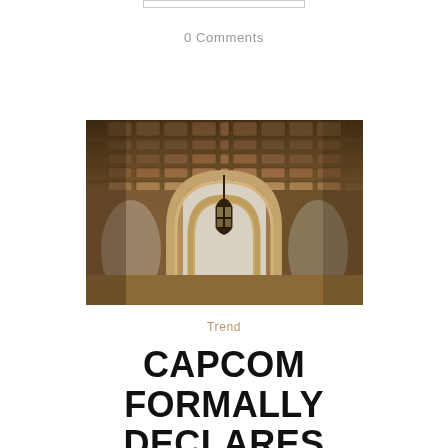0 Comments
[Figure (photo): Interior architectural photograph showing ornate arched ceiling with decorative coffers, classical columns, and a hanging lantern pendant light. The image has a warm sepia/golden tone.]
Trend
CAPCOM FORMALLY DECLARES